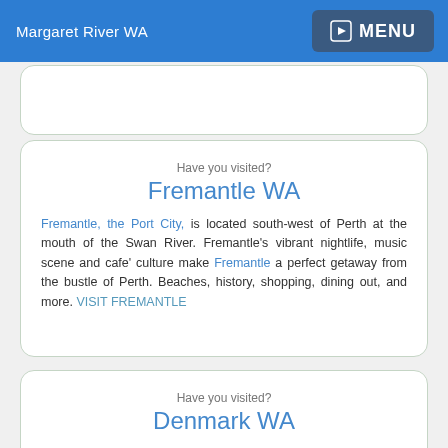Margaret River WA  MENU
Have you visited?
Fremantle WA
Fremantle, the Port City, is located south-west of Perth at the mouth of the Swan River. Fremantle's vibrant nightlife, music scene and cafe' culture make Fremantle a perfect getaway from the bustle of Perth. Beaches, history, shopping, dining out, and more. VISIT FREMANTLE
Have you visited?
Denmark WA
Denmark WA is one of the most beautiful places along the south coast as it has forests, beaches, rivers and waves. Everything you need for the perfect south coast holiday. Denmark Wineries are popular too! Info on Denmark Town including shopping, dining & history, VISIT DENMARK WA